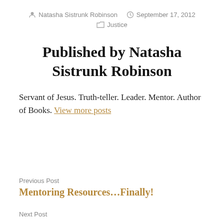Natasha Sistrunk Robinson   September 17, 2012   Justice
Published by Natasha Sistrunk Robinson
Servant of Jesus. Truth-teller. Leader. Mentor. Author of Books. View more posts
Previous Post
Mentoring Resources…Finally!
Next Post